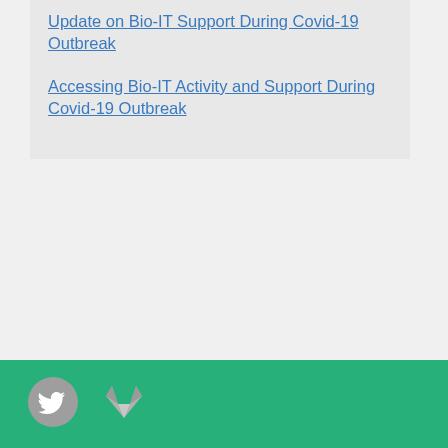Update on Bio-IT Support During Covid-19 Outbreak
Accessing Bio-IT Activity and Support During Covid-19 Outbreak
Twitter and GitLab social icons